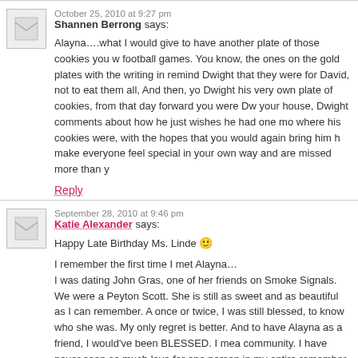October 25, 2010 at 9:27 pm
Shannen Berrong says:
Alayna….what I would give to have another plate of those cookies you would bring to the football games. You know, the ones on the gold plates with the writing in them. You would remind Dwight that they were for David, not to eat them all, And then, you made Dwight his very own plate of cookies, from that day forward you were Dwight's at your house, Dwight comments about how he just wishes he had one more time where his cookies were, with the hopes that you would again bring him his. You make everyone feel special in your own way and are missed more than you know.
Reply
September 28, 2010 at 9:46 pm
Katie Alexander says:
Happy Late Birthday Ms. Linde 🙂
I remember the first time I met Alayna… I was dating John Gras, one of her friends on Smoke Signals. We were at Peyton Scott. She is still as sweet and as beautiful as I can remember. Although only once or twice, I was still blessed, to know who she was. My only regret is not knowing her better. And to have Alayna as a friend, I would've been BLESSED. I mean, she touched a community. I have never seen so much love for one person in my entire life. I still remember driving by, and the church parking lot was packed full of people. The word 'was' is not in my vocabulary when talking about Alayna, because even though physically, she's still here, in our hearts. Her death is not real to me, it still… the halls everyday at Choctawhatchee High School. Alayna, I miss you…